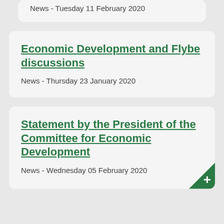News - Tuesday 11 February 2020
Economic Development and Flybe discussions
News - Thursday 23 January 2020
Statement by the President of the Committee for Economic Development
News - Wednesday 05 February 2020